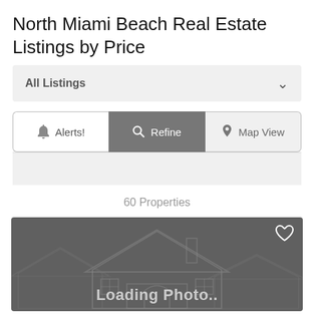North Miami Beach Real Estate Listings by Price
All Listings
Alerts!  Refine  Map View
60 Properties
[Figure (screenshot): Loading photo placeholder with house silhouette graphic and heart icon in the upper right corner. Text reads 'Loading Photo..']